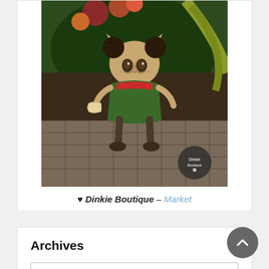[Figure (illustration): Digital illustration of an anthropomorphic cat character dressed in a green outfit with decorative elements, surrounded by tropical foliage and flowers. A small circular watermark logo is visible in the lower right corner.]
♥ Dinkie Boutique – Market
Archives
Select Month
Fashion Dinkies: Aiga
19thAug2022: DJ Brandi at Maymay Pawtee, New